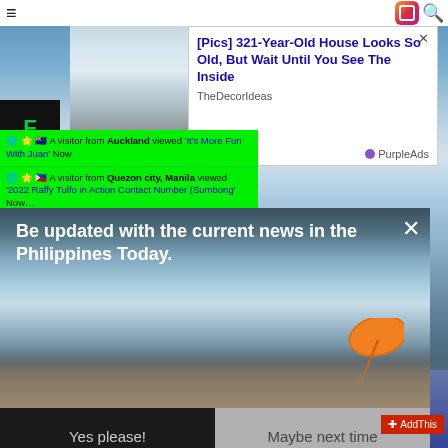≡
[Figure (screenshot): Advertisement: [Pics] 321-Year-Old House Looks So Old, But Wait Until You See The Inside - TheDecorIdeas - PurpleAds, with a snowy road photo]
[Figure (screenshot): Green visitor notification widget: A visitor from Auckland viewed 'It's More Fun With Juan' Now; A visitor from Quezon city, Manila viewed '2022 Raffy Tulfo in Action Contact Number (Sumbong' Now]
[Figure (screenshot): Website logo with letter F on dark background]
[Figure (infographic): Push notification popup over a beach/sky photo with orange umbrella. Text: 'Be updated with the current news in the Philippines Today.' with buttons 'Yes please!' and 'Maybe next time'. Close X button top right. AddThis badge bottom right.]